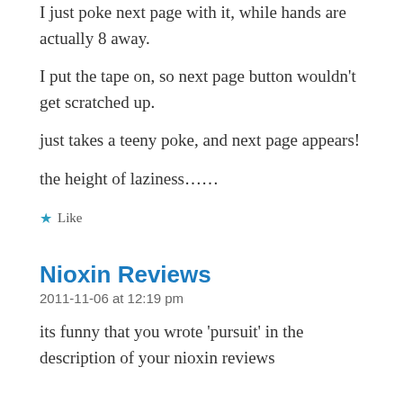I just poke next page with it, while hands are actually 8 away.
I put the tape on, so next page button wouldn’t get scratched up.
just takes a teeny poke, and next page appears!
the height of laziness……
★ Like
Nioxin Reviews
2011-11-06 at 12:19 pm
its funny that you wrote ‘pursuit’ in the description of your nioxin reviews